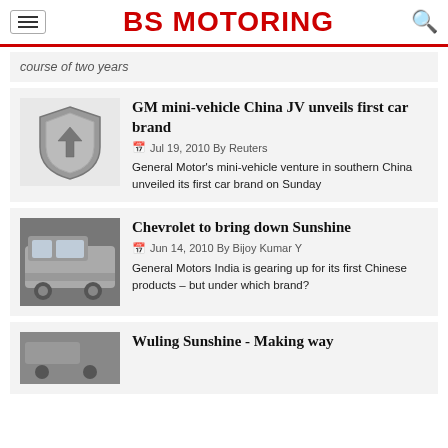BS MOTORING
course of two years
GM mini-vehicle China JV unveils first car brand
Jul 19, 2010 By Reuters
General Motor's mini-vehicle venture in southern China unveiled its first car brand on Sunday
Chevrolet to bring down Sunshine
Jun 14, 2010 By Bijoy Kumar Y
General Motors India is gearing up for its first Chinese products – but under which brand?
Wuling Sunshine - Making way